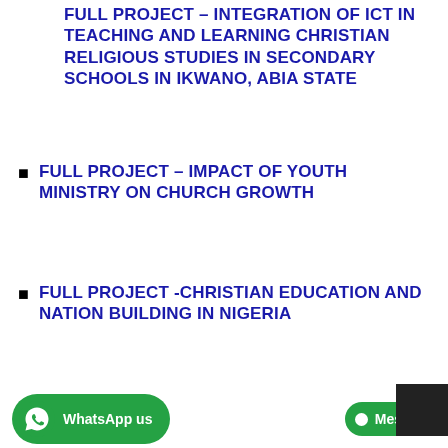FULL PROJECT – INTEGRATION OF ICT IN TEACHING AND LEARNING CHRISTIAN RELIGIOUS STUDIES IN SECONDARY SCHOOLS IN IKWANO, ABIA STATE
FULL PROJECT – IMPACT OF YOUTH MINISTRY ON CHURCH GROWTH
FULL PROJECT -CHRISTIAN EDUCATION AND NATION BUILDING IN NIGERIA